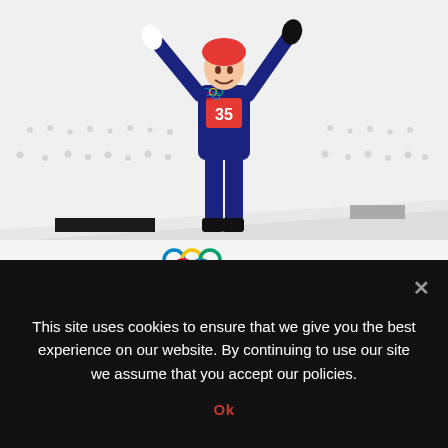[Figure (photo): Norwegian ski jumper Maren Lundby celebrating on the PyeongChang 2018 Olympic podium, wearing bib number 35, arms raised in victory, in blue suit. Olympic rings visible on the podium structure with 'PyeongChang 2018' text.]
Norwegian ski jumper Maren Lundby achieved her goal of
This site uses cookies to ensure that we give you the best experience on our website. By continuing to use our site we assume that you accept our policies.
Ok